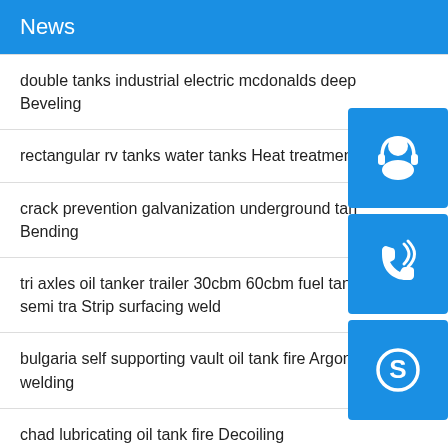News
double tanks industrial electric mcdonalds deep Beveling
rectangular rv tanks water tanks Heat treatment
crack prevention galvanization underground tanks Bending
tri axles oil tanker trailer 30cbm 60cbm fuel tank semi tra Strip surfacing weld
bulgaria self supporting vault oil tank fire Argon arc welding
chad lubricating oil tank fire Decoiling
[Figure (infographic): Three floating action buttons on the right side: a customer support icon (headset), a phone/call icon, and a Skype icon, all with white symbols on blue square backgrounds.]